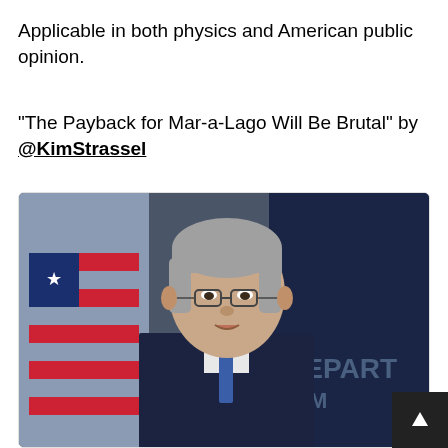Applicable in both physics and American public opinion.
“The Payback for Mar-a-Lago Will Be Brutal” by @KimStrassel
[Figure (photo): Photo of a grey-haired man in glasses and dark suit speaking at a Department of Justice podium, with an American flag visible in the background.]
wsj.com
Opinion | The Payback for Mar-a-Lago Will Be Brutal